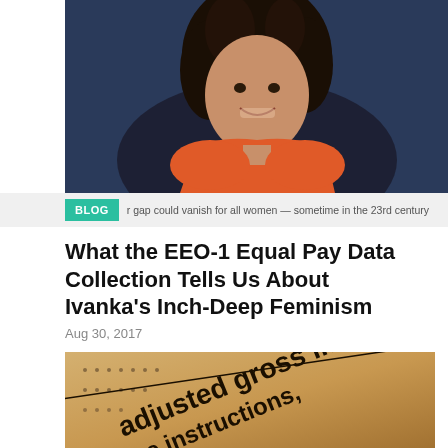[Figure (photo): Portrait photo of a smiling woman with curly hair, wearing an orange top, against a dark blue background]
BLOG | r gap could vanish for all women — sometime in the 23rd century
What the EEO-1 Equal Pay Data Collection Tells Us About Ivanka's Inch-Deep Feminism
Aug 30, 2017
[Figure (photo): Close-up photo of a tax form showing the text 'adjusted gross income' and 'see instructions.' printed on golden/beige paper]